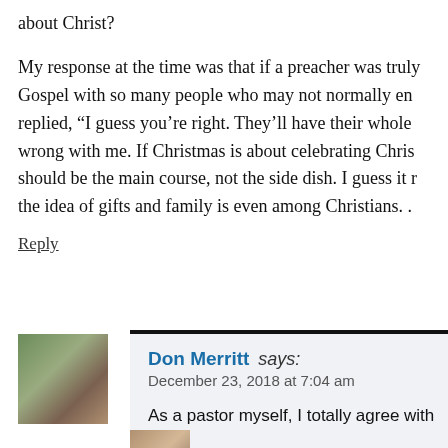about Christ?

My response at the time was that if a preacher was truly sharing the Gospel with so many people who may not normally en... replied, “I guess you’re right. They’ll have their whole... wrong with me. If Christmas is about celebrating Chris... should be the main course, not the side dish. I guess it r... the idea of gifts and family is even among Christians. .
Reply
[Figure (photo): Avatar photo of Don Merritt - a man wearing a cap, outdoors]
Don Merritt says:
December 23, 2018 at 7:04 am

As a pastor myself, I totally agree with you... icing on the cake. There is plenty of time fo...

Reply
Heather Davis says: